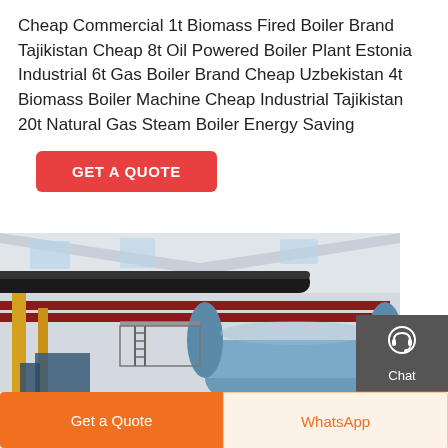Cheap Commercial 1t Biomass Fired Boiler Brand Tajikistan Cheap 8t Oil Powered Boiler Plant Estonia Industrial 6t Gas Boiler Brand Cheap Uzbekistan 4t Biomass Boiler Machine Cheap Industrial Tajikistan 20t Natural Gas Steam Boiler Energy Saving
[Figure (other): Button: GET A QUOTE in red/orange rounded rectangle]
[Figure (photo): Interior photo of industrial boiler room showing large cylindrical boiler vessel, overhead pipes (black and red), yellow support columns, metal walkway/ladder structure, and white industrial ceiling with skylights]
[Figure (infographic): Side panel with dark gray background showing three contact options: Chat (headset icon), Email (envelope icon), Contact (speech bubble icon), separated by red horizontal lines]
[Figure (other): Bottom navigation bar with two buttons: 'Get a Quote' (orange background, white text) and 'WhatsApp' (light cream background, orange text)]